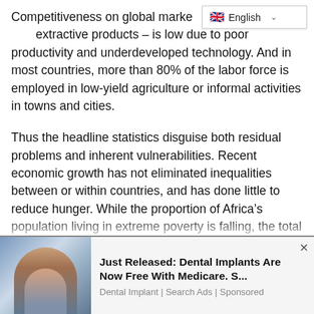[Figure (screenshot): Language selector dropdown showing UK flag and 'English' label with a chevron/arrow indicator]
Competitiveness on global markets – especially for non-extractive products – is low due to poor productivity and underdeveloped technology. And in most countries, more than 80% of the labor force is employed in low-yield agriculture or informal activities in towns and cities.
Thus the headline statistics disguise both residual problems and inherent vulnerabilities. Recent economic growth has not eliminated inequalities between or within countries, and has done little to reduce hunger. While the proportion of Africa's population living in extreme poverty is falling, the total number of extremely poor people rose by more than 20 million between 2002 and 2012. Youth unemployment threatens instability, and while access to education has improved significantly, standards are still low...
[Figure (screenshot): Advertisement overlay at bottom of page: photo of a smiling woman on the left, text reading 'Just Released: Dental Implants Are Now Free With Medicare. S...' with subtext 'Dental Implant | Search Ads | Sponsored'. Close (×) button in top right.]